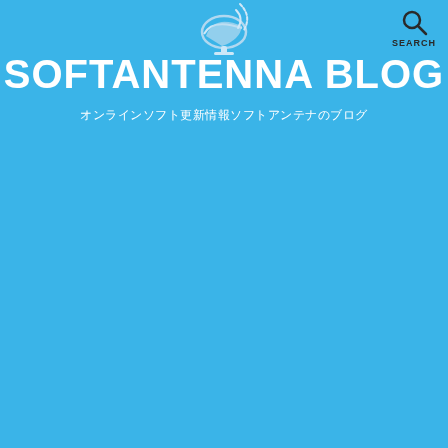[Figure (logo): Satellite dish icon in white/light blue at top center of the header]
[Figure (logo): Search magnifying glass icon in dark color at top right]
SOFTANTENNA BLOG
オンラインソフト更新情報ソフトアンテナのブログ